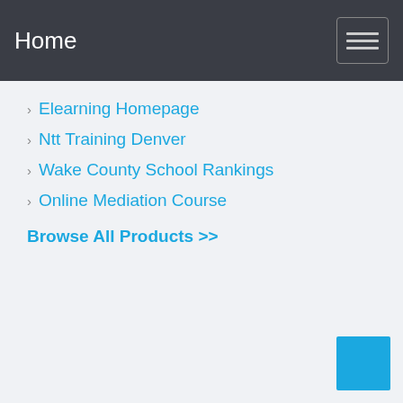Home
Elearning Homepage
Ntt Training Denver
Wake County School Rankings
Online Mediation Course
Browse All Products >>
[Figure (other): Blue square button in bottom right corner]